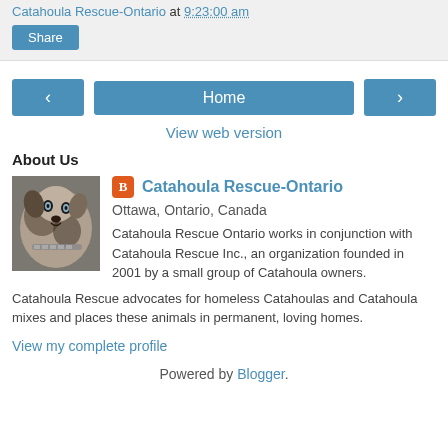Catahoula Rescue-Ontario at 9:23:00 am
Share
< Home >
View web version
About Us
[Figure (photo): Photo of a Catahoula dog with distinctive mottled coat and blue eyes wearing a chain collar]
Catahoula Rescue-Ontario
Ottawa, Ontario, Canada
Catahoula Rescue Ontario works in conjunction with Catahoula Rescue Inc., an organization founded in 2001 by a small group of Catahoula owners. Catahoula Rescue advocates for homeless Catahoulas and Catahoula mixes and places these animals in permanent, loving homes.
View my complete profile
Powered by Blogger.